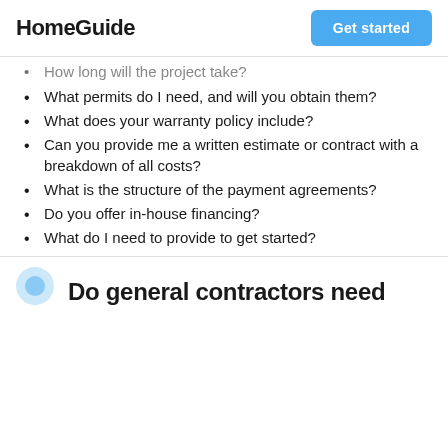HomeGuide | Get started
How long will the project take?
What permits do I need, and will you obtain them?
What does your warranty policy include?
Can you provide me a written estimate or contract with a breakdown of all costs?
What is the structure of the payment agreements?
Do you offer in-house financing?
What do I need to provide to get started?
Do general contractors need